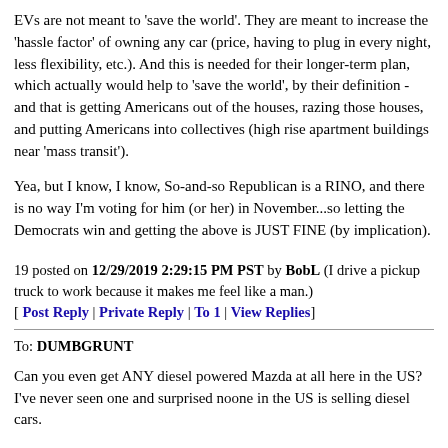EVs are not meant to 'save the world'. They are meant to increase the 'hassle factor' of owning any car (price, having to plug in every night, less flexibility, etc.). And this is needed for their longer-term plan, which actually would help to 'save the world', by their definition - and that is getting Americans out of the houses, razing those houses, and putting Americans into collectives (high rise apartment buildings near 'mass transit').
Yea, but I know, I know, So-and-so Republican is a RINO, and there is no way I'm voting for him (or her) in November...so letting the Democrats win and getting the above is JUST FINE (by implication).
19 posted on 12/29/2019 2:29:15 PM PST by BobL (I drive a pickup truck to work because it makes me feel like a man.) [ Post Reply | Private Reply | To 1 | View Replies]
To: DUMBGRUNT
Can you even get ANY diesel powered Mazda at all here in the US? I've never seen one and surprised noone in the US is selling diesel cars.